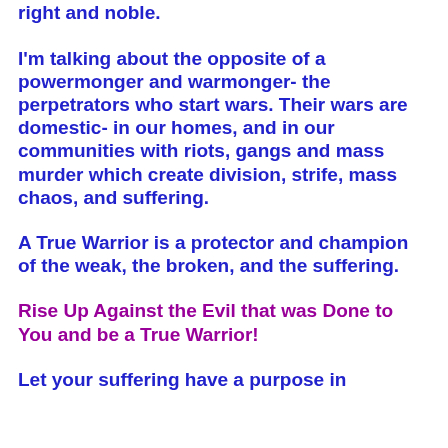right and noble.
I'm talking about the opposite of a powermonger and warmonger- the perpetrators who start wars. Their wars are domestic- in our homes, and in our communities with riots, gangs and mass murder which create division, strife, mass chaos, and suffering.
A True Warrior is a protector and champion of the weak, the broken, and the suffering.
Rise Up Against the Evil that was Done to You and be a True Warrior!
Let your suffering have a purpose in